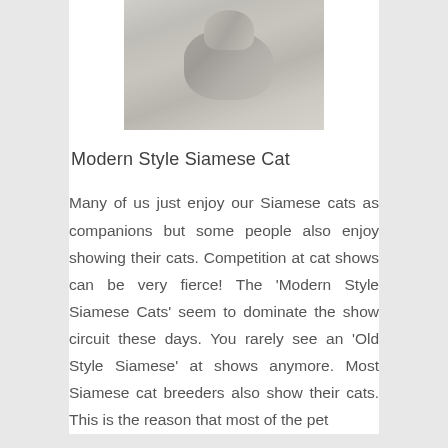[Figure (photo): Close-up photo of a Siamese cat, light grey and white fur, partial view cropped at top]
Modern Style Siamese Cat
Many of us just enjoy our Siamese cats as companions but some people also enjoy showing their cats. Competition at cat shows can be very fierce! The 'Modern Style Siamese Cats' seem to dominate the show circuit these days. You rarely see an 'Old Style Siamese' at shows anymore. Most Siamese cat breeders also show their cats. This is the reason that most of the pet